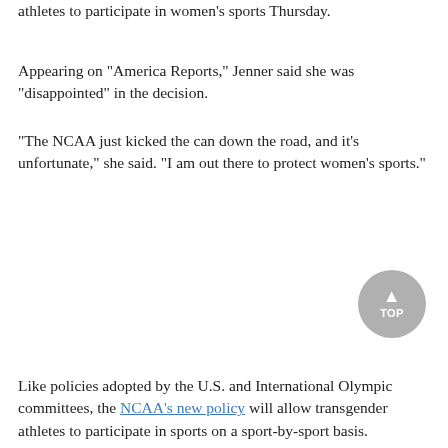athletes to participate in women's sports Thursday.
Appearing on "America Reports," Jenner said she was "disappointed" in the decision.
"The NCAA just kicked the can down the road, and it's unfortunate," she said. "I am out there to protect women's sports."
Like policies adopted by the U.S. and International Olympic committees, the NCAA's new policy will allow transgender athletes to participate in sports on a sport-by-sport basis.